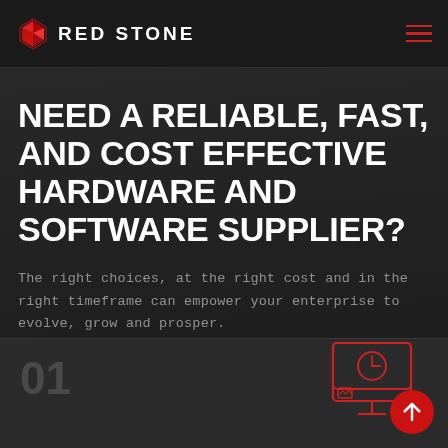RED STONE
NEED A RELIABLE, FAST, AND COST EFFECTIVE HARDWARE AND SOFTWARE SUPPLIER?
The right choices, at the right cost and in the right timeframe can empower your enterprise to evolve, grow and prosper.
01
[Figure (illustration): Red Stone logo: a geometric red diamond/gem icon followed by the words RED STONE in white uppercase bold letters]
[Figure (illustration): Red outline icon of a computer monitor with clock/time symbol and a red circle badge, representing IT supply/hardware services]